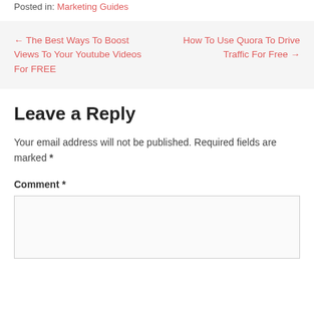Posted in: Marketing Guides
← The Best Ways To Boost Views To Your Youtube Videos For FREE
How To Use Quora To Drive Traffic For Free →
Leave a Reply
Your email address will not be published. Required fields are marked *
Comment *